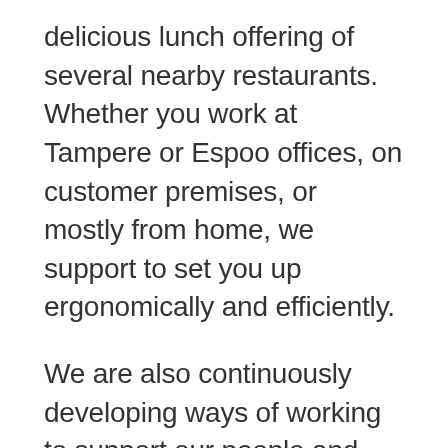delicious lunch offering of several nearby restaurants. Whether you work at Tampere or Espoo offices, on customer premises, or mostly from home, we support to set you up ergonomically and efficiently.
We are also continuously developing ways of working to support our people and ensure a safe and enjoyable workplace. We aim to create something extraordinary and truly meaningful together, learn from each other, and help our customers and each other succeed. We want to be the best place to grow for